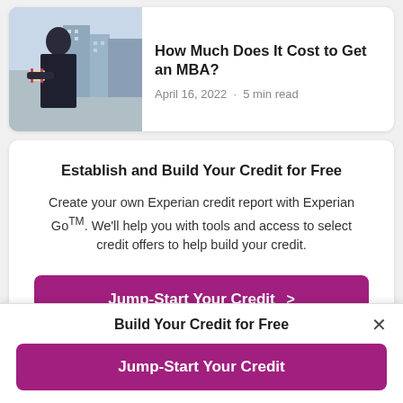[Figure (photo): Photo of a person in graduation attire holding a diploma in front of a city building]
How Much Does It Cost to Get an MBA?
April 16, 2022 · 5 min read
Establish and Build Your Credit for Free
Create your own Experian credit report with Experian Go™. We'll help you with tools and access to select credit offers to help build your credit.
Jump-Start Your Credit >
Build Your Credit for Free
Jump-Start Your Credit